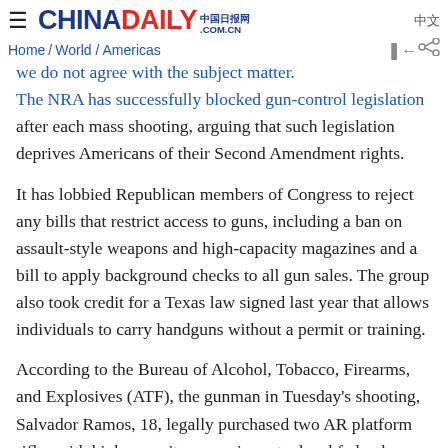≡ CHINADAILY 中国日报网 .COM.CN 中文 Home / World / Americas
we do not agree with the subject matter. The NRA has successfully blocked gun-control legislation after each mass shooting, arguing that such legislation deprives Americans of their Second Amendment rights.
It has lobbied Republican members of Congress to reject any bills that restrict access to guns, including a ban on assault-style weapons and high-capacity magazines and a bill to apply background checks to all gun sales. The group also took credit for a Texas law signed last year that allows individuals to carry handguns without a permit or training.
According to the Bureau of Alcohol, Tobacco, Firearms, and Explosives (ATF), the gunman in Tuesday's shooting, Salvador Ramos, 18, legally purchased two AR platform rifles with high-capacity magazines at a local federal firearms licensee just a few days before the shooting and